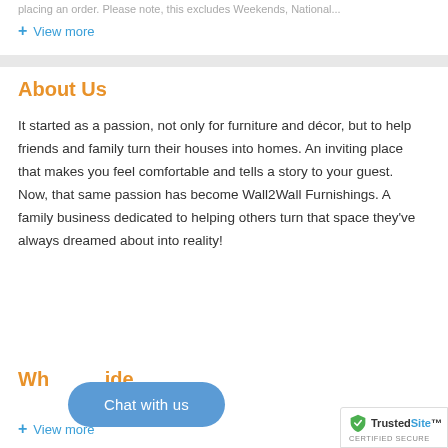placing an order.  Please note, this excludes Weekends, National...
+ View more
About Us
It started as a passion, not only for furniture and décor, but to help friends and family turn their houses into homes.  An inviting place that makes you feel comfortable and tells a story to your guest.  Now, that same passion has become Wall2Wall Furnishings. A family business dedicated to helping others turn that space they've always dreamed about into reality!
Wh... ide
[Figure (other): Chat with us button - a blue rounded pill button with white text]
+ View more
[Figure (logo): TrustedSite Certified Secure badge]